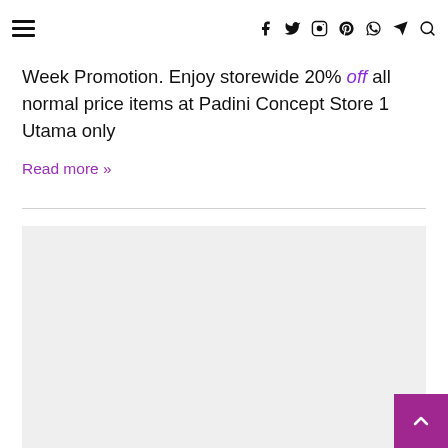≡ [navigation icons: facebook, twitter, instagram, pinterest, whatsapp, telegram, search]
Week Promotion. Enjoy storewide 20% off all normal price items at Padini Concept Store 1 Utama only
Read more »
[Figure (other): Gray placeholder image block]